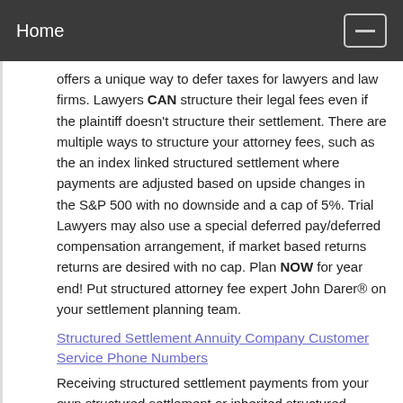Home
offers a unique way to defer taxes for lawyers and law firms. Lawyers CAN structure their legal fees even if the plaintiff doesn't structure their settlement. There are multiple ways to structure your attorney fees, such as the an index linked structured settlement where payments are adjusted based on upside changes in the S&P 500 with no downside and a cap of 5%. Trial Lawyers may also use a special deferred pay/deferred compensation arrangement, if market based returns returns are desired with no cap. Plan NOW for year end! Put structured attorney fee expert John Darer® on your settlement planning team.
Structured Settlement Annuity Company Customer Service Phone Numbers
Receiving structured settlement payments from your own structured settlement or inherited structured settlement? You'll like this huge time saver. Click for a comprehensive list of customer service telephone numbers that includes both current AND former structured settlement annuity issuers and reinsurers. If